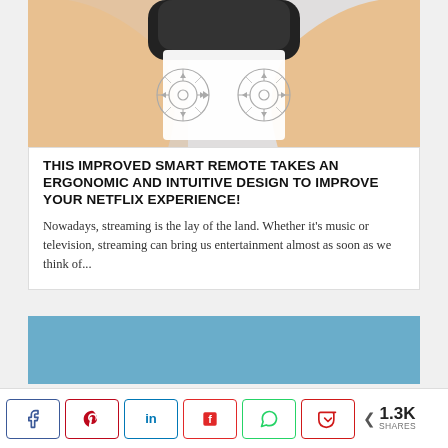[Figure (photo): Hands holding a game controller / smart remote device, with directional pad diagrams (two circular d-pad icons) overlaid on a white background.]
THIS IMPROVED SMART REMOTE TAKES AN ERGONOMIC AND INTUITIVE DESIGN TO IMPROVE YOUR NETFLIX EXPERIENCE!
Nowadays, streaming is the lay of the land. Whether it's music or television, streaming can bring us entertainment almost as soon as we think of...
[Figure (other): Blue/teal banner advertisement block]
< 1.3K SHARES (Facebook, Pinterest, LinkedIn, Flipboard, WhatsApp, Pocket share buttons)